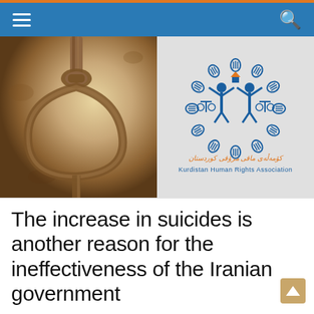≡  [menu]  [search]
[Figure (photo): Left half: photo of a hangman's noose rope against a dusty beige/golden background. Right half: Kurdistan Human Rights Association logo — blue figures with arms raised, encircled by hand icons, with Kurdish script and 'Kurdistan Human Rights Association' text below.]
The increase in suicides is another reason for the ineffectiveness of the Iranian government